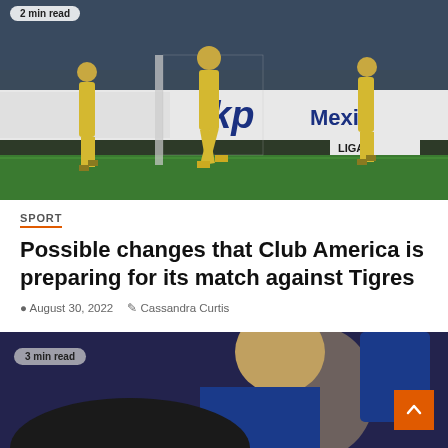[Figure (photo): Soccer players in yellow uniforms celebrating/running on a Liga BBVA MX field with 'kp Mexico' advertising boards in the background. Badge overlay reads '2 min read'.]
SPORT
Possible changes that Club America is preparing for its match against Tigres
August 30, 2022   Cassandra Curtis
[Figure (photo): A bald man in a blue suit (coach or official) photographed from behind/side with another person with long hair in the foreground. Badge overlay reads '3 min read'.]